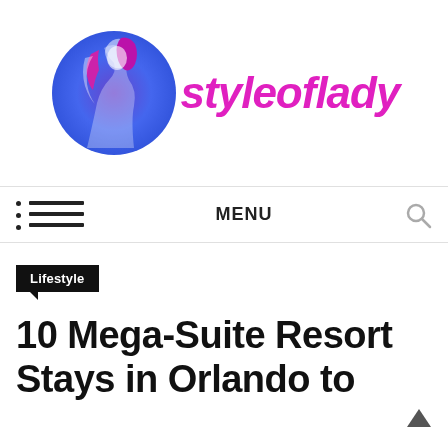[Figure (logo): StyleOfLady logo: circular gradient (blue/purple) with silhouette of a woman, followed by stylized italic text 'styleoflady' in magenta/pink]
MENU
Lifestyle
10 Mega-Suite Resort Stays in Orlando to